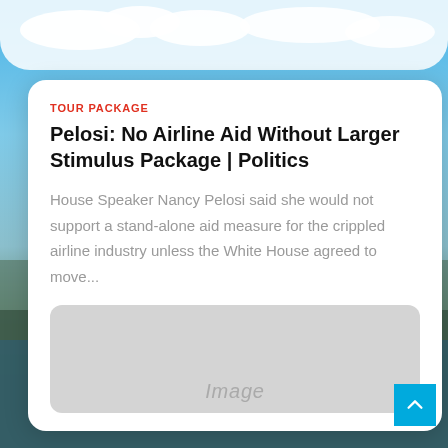[Figure (photo): Background photo of Stockholm cityscape with blue sky and clouds, waterfront with historic buildings and church tower]
TOUR PACKAGE
Pelosi: No Airline Aid Without Larger Stimulus Package | Politics
House Speaker Nancy Pelosi said she would not support a stand-alone aid measure for the crippled airline industry unless the White House agreed to move...
[Figure (photo): Image placeholder (gray rounded rectangle with 'Image' text)]